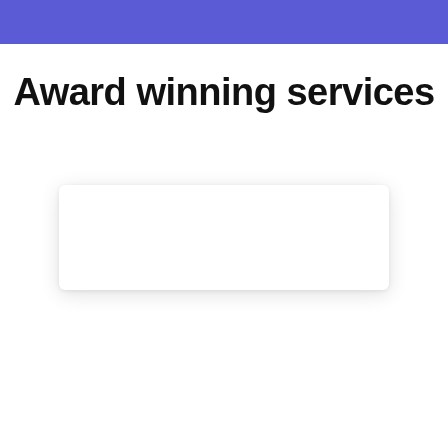Award winning services
[Figure (other): An empty white card/panel with a light drop shadow, serving as a placeholder for carousel content.]
[Figure (infographic): Carousel navigation: a left arrow button (green circle), seven pagination dots (first empty, second filled blue, rest empty), and a right arrow button (green circle).]